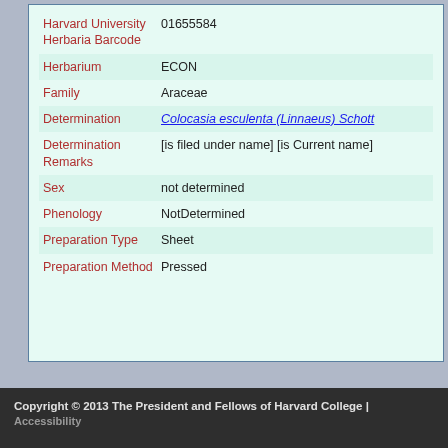| Field | Value |
| --- | --- |
| Harvard University Herbaria Barcode | 01655584 |
| Herbarium | ECON |
| Family | Araceae |
| Determination | Colocasia esculenta (Linnaeus) Schott |
| Determination Remarks | [is filed under name] [is Current name] |
| Sex | not determined |
| Phenology | NotDetermined |
| Preparation Type | Sheet |
| Preparation Method | Pressed |
Copyright © 2013 The President and Fellows of Harvard College | Accessibility